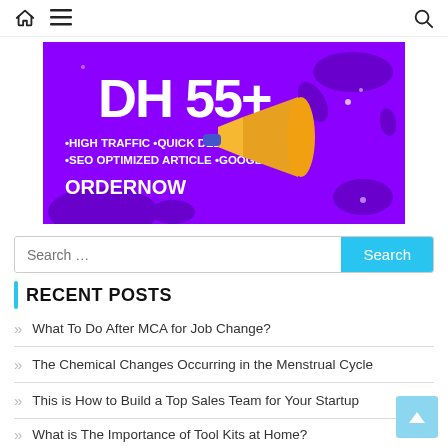Navigation bar with home, menu, and search icons
[Figure (infographic): Purple advertising banner with 'DH 55+' text, megaphone graphic, bullet points: HIGH TRAFFIC, QUICK DELIVERY, SEO OPTIMIZED ARTICLE, GOOGLEINDEX, ORDER NOW]
Search ...
RECENT POSTS
What To Do After MCA for Job Change?
The Chemical Changes Occurring in the Menstrual Cycle
This is How to Build a Top Sales Team for Your Startup
What is The Importance of Tool Kits at Home?